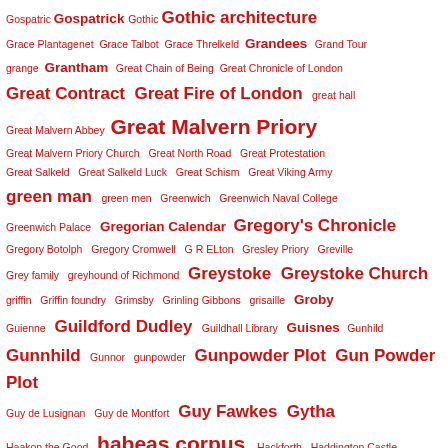Gospatric Gospatrick Gothic Gothic architecture
Grace Plantagenet Grace Talbot Grace Threlkeld Grandees Grand Tour
grange Grantham Great Chain of Being Great Chronicle of London
Great Contract Great Fire of London great hall
Great Malvern Abbey Great Malvern Priory
Great Malvern Priory Church Great North Road Great Protestation
Great Salkeld Great Salkeld Luck Great Schism Great Viking Army
green man green men Greenwich Greenwich Naval College
Greenwich Palace Gregorian Calendar Gregory's Chronicle
Gregory Botolph Gregory Cromwell G R ELton Gresley Priory Greville
Grey family greyhound of Richmond Greystoke Greystoke Church
griffin Griffin foundry Grimsby Grinling Gibbons grisaille Groby
Guienne Guildford Dudley Guildhall Library Guisnes Gunhild
Gunnhild Gunnor gunpowder Gunpowder Plot Gun Powder Plot
Guy de Lusignan Guy de Montfort Guy Fawkes Gytha
Haakon the Good habeas corpus Hackforth Haddington Castle
Haddon Hall Hadrian's Wall Hailes Abbey Hainhault
Hainhault Forest Hakon Sweynson Halfdan Halifax hall Hall's Chronicle
Hallaby Halley's Comet Haltwhistle Hamelin de Warenne